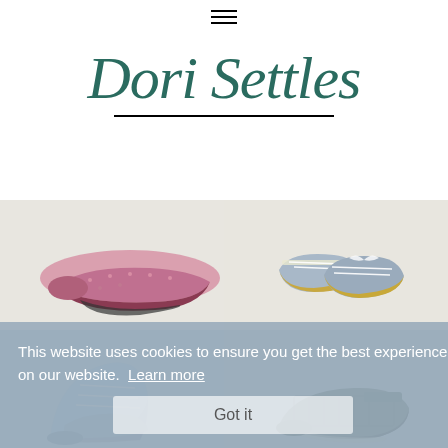≡
Dori Settles
[Figure (photo): Ceramic sculpture of a single pink women's flat shoe on white background]
[Figure (photo): Ceramic sculptures of a pair of small yellow-blue baby sneakers with white laces on white background]
[Figure (photo): Ceramic sculpture of a blue high-top sneaker on grey background]
[Figure (photo): Ceramic sculpture of a dark grey/green sneaker on grey background]
This website uses cookies to ensure you get the best experience on our website. Learn more
Got it